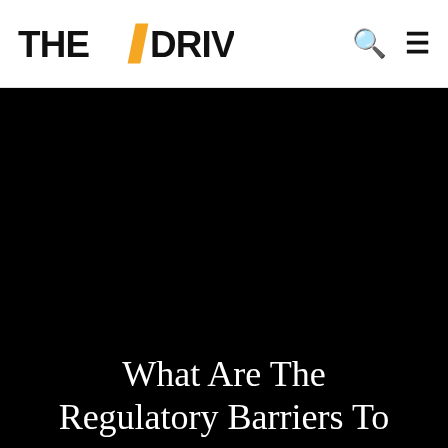THE / DRIVE
[Figure (photo): Dark/black background hero image area for The Drive article]
What Are The Regulatory Barriers To